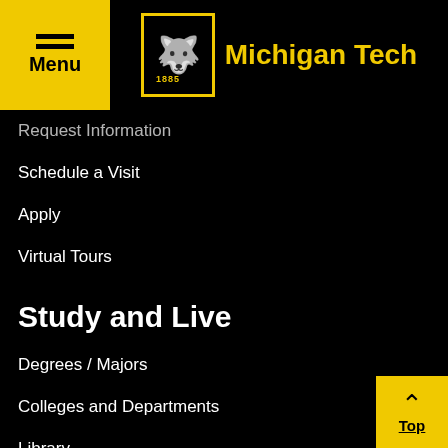Michigan Tech — Menu / Logo header
Request Information
Schedule a Visit
Apply
Virtual Tours
Study and Live
Degrees / Majors
Colleges and Departments
Library
Events Calendar
Arts and Entertainment
Fitness and Recreation